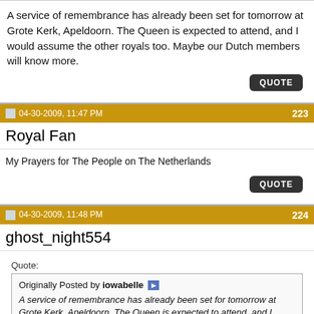A service of remembrance has already been set for tomorrow at Grote Kerk, Apeldoorn. The Queen is expected to attend, and I would assume the other royals too. Maybe our Dutch members will know more.
QUOTE
04-30-2009, 11:47 PM   223
Royal Fan
My Prayers for The People on The Netherlands
QUOTE
04-30-2009, 11:48 PM   224
ghost_night554
Quote:
Originally Posted by iowabelle ▶ A service of remembrance has already been set for tomorrow at Grote Kerk, Apeldoorn. The Queen is expected to attend, and I would assume the other royals too. Maybe our Dutch members will know more.